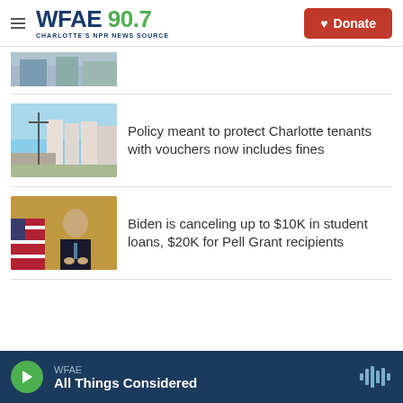WFAE 90.7 Charlotte's NPR News Source — Donate
[Figure (photo): Partial thumbnail of an image at top of news feed]
Policy meant to protect Charlotte tenants with vouchers now includes fines
[Figure (photo): Photo of residential housing with utility poles along a street]
Biden is canceling up to $10K in student loans, $20K for Pell Grant recipients
[Figure (photo): Photo of President Biden at a podium with American flag in background]
WFAE — All Things Considered